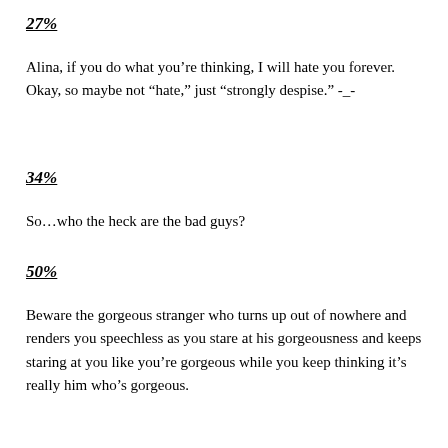27%
Alina, if you do what you’re thinking, I will hate you forever. Okay, so maybe not “hate,” just “strongly despise.” -_-
34%
So…who the heck are the bad guys?
50%
Beware the gorgeous stranger who turns up out of nowhere and renders you speechless as you stare at his gorgeousness and keeps staring at you like you’re gorgeous while you keep thinking it’s really him who’s gorgeous.